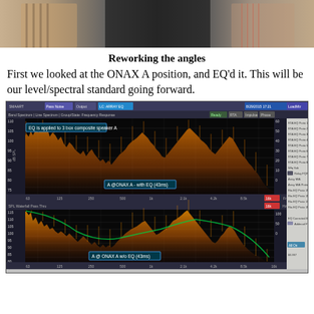[Figure (photo): Cropped photo showing people in a room, partial view at top of page]
Reworking the angles
First we looked at the ONAX A position, and EQ'd it. This will be our level/spectral standard going forward.
[Figure (screenshot): SysFlex or similar acoustic measurement software screenshot showing two frequency response / spectrogram panels. Upper panel annotated 'EQ is applied to 3 box composite speaker A' and 'A @ONAX A - with EQ (43ms)'. Lower panel annotated 'A @ ONAX A w/o EQ (43ms)'. Panels show orange/yellow waveform spectral data on dark background with green smoothed curve on lower panel.]